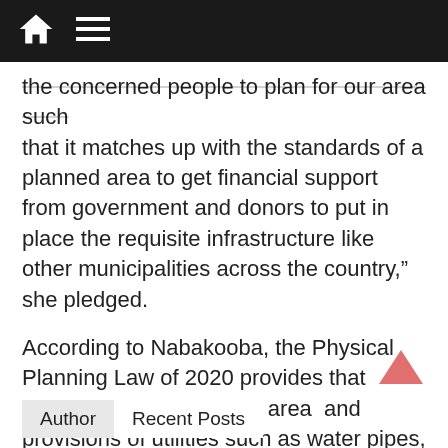navigation bar with home and menu icons
the concerned people to plan for our area such that it matches up with the standards of a planned area to get financial support from government and donors to put in place the requisite infrastructure like other municipalities across the country,” she pledged.
According to Nabakooba, the Physical Planning Law of 2020 provides that  every area is a planning area  and provisions of utilities such as water pipes, electricity and internet wires, have to be integrated in the physical plans to avoid poor planning waste of resources when it comes to development work .
Author   Recent Posts